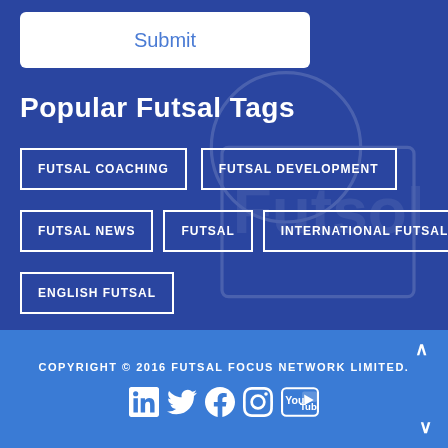Submit
Popular Futsal Tags
FUTSAL COACHING
FUTSAL DEVELOPMENT
FUTSAL NEWS
FUTSAL
INTERNATIONAL FUTSAL
ENGLISH FUTSAL
COPYRIGHT © 2016 FUTSAL FOCUS NETWORK LIMITED.